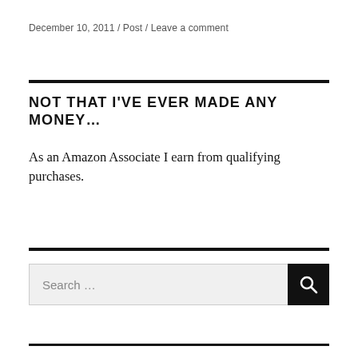December 10, 2011 / Post / Leave a comment
NOT THAT I'VE EVER MADE ANY MONEY…
As an Amazon Associate I earn from qualifying purchases.
[Figure (other): Search bar with text input field labeled 'Search ...' and a black search button with magnifying glass icon]